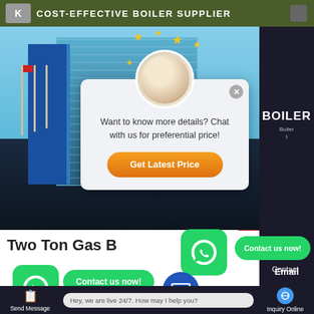COST-EFFECTIVE BOILER SUPPLIER
[Figure (screenshot): Website screenshot showing a boiler supplier company page with building photo, chat popup overlay, WhatsApp contact buttons, and bottom navigation bar. Popup says 'Want to know more details? Chat with us for preferential price!' with a 'Get Latest Price' button. Title reads 'Two Ton Gas B[oiler]'. Bottom bar has Send Message, live chat bubble 'Hey, we are live 24/7. How may I help you?', and Inquiry Online button.]
Want to know more details? Chat with us for preferential price!
Get Latest Price
Two Ton Gas B[oiler]
Contact us now!
Contact us now!
Email
Contact
Hey, we are live 24/7. How may I help you?
Send Message
Inquiry Online